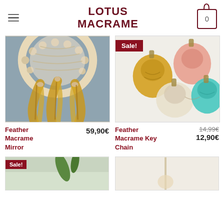LOTUS MACRAME
[Figure (photo): Macrame feather mirror with cream woven circle top and three yellow/mustard feather tassels hanging below]
Feather Macrame Mirror
59,90€
[Figure (photo): Macrame feather keychains in multiple colors: peach, mustard yellow, cream/white, and teal/turquoise, with bronze lobster claw clasps. Sale badge shown.]
Feather Macrame Key Chain
14,99€
12,90€
[Figure (photo): Partially visible macrame product photo at bottom left, with Sale badge]
[Figure (photo): Partially visible macrame product photo at bottom right]